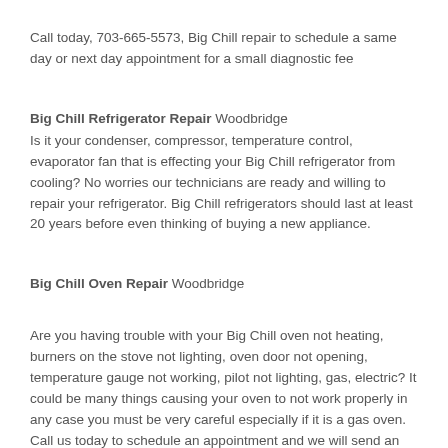Call today, 703-665-5573, Big Chill repair to schedule a same day or next day appointment for a small diagnostic fee
Big Chill Refrigerator Repair Woodbridge
Is it your condenser, compressor, temperature control, evaporator fan that is effecting your Big Chill refrigerator from cooling? No worries our technicians are ready and willing to repair your refrigerator. Big Chill refrigerators should last at least 20 years before even thinking of buying a new appliance.
Big Chill Oven Repair Woodbridge
Are you having trouble with your Big Chill oven not heating, burners on the stove not lighting, oven door not opening, temperature gauge not working, pilot not lighting, gas, electric? It could be many things causing your oven to not work properly in any case you must be very careful especially if it is a gas oven. Call us today to schedule an appointment and we will send an experience Big Chill repair technician out to your home today.
Call today, 703-665-5573, Big Chill repair to schedule a same day or next day appointment for a small diagnostic fee